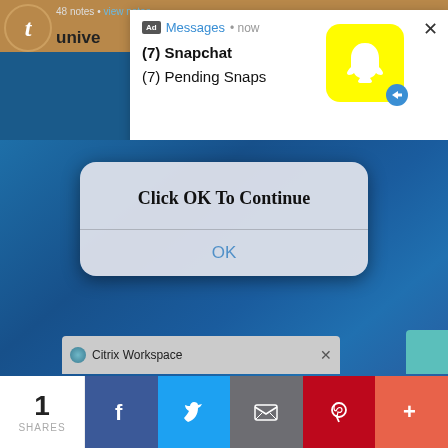[Figure (screenshot): Screenshot of a mobile/desktop screen showing: a Tumblr-style orange top bar with 't' icon and '48 notes · view notes' text, a white notification popup with 'Ad Messages • now' header, Snapchat icon (yellow), '(7) Snapchat' and '(7) Pending Snaps' text, a blue desktop background, an iOS-style dialog saying 'Click OK To Continue' with an OK button, a Citrix Workspace taskbar item, a teal box in corner, and a social share bar at bottom with 1 SHARES count and Facebook, Twitter, Email, Pinterest, More buttons.]